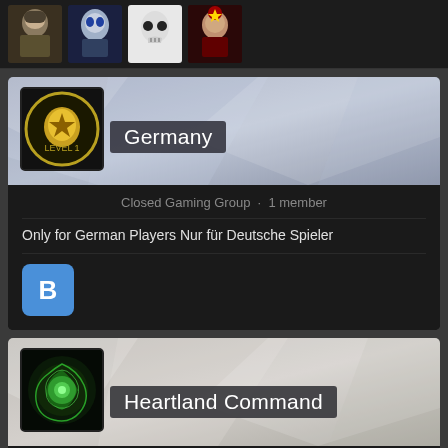[Figure (screenshot): Top strip showing 4 small game character avatars on dark background]
[Figure (screenshot): Gaming group card for Germany - Closed Gaming Group with 1 member. Group icon shows golden emblem. Banner has blue-gray geometric polygon pattern. Member avatar shows letter B.]
Closed Gaming Group · 1 member
Only for German Players Nur für Deutsche Spieler
[Figure (screenshot): Gaming group card for Heartland Command - Closed Gaming Group with 1 member. Group icon shows green fractal/organic design. Banner has gray geometric polygon pattern.]
Closed Gaming Group · 1 member
Gamers from the Omaha / Lincoln areas who love Stargate!!